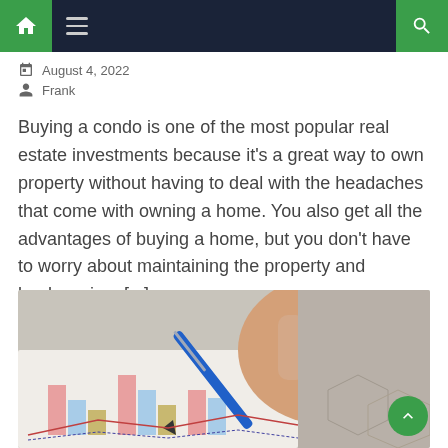Navigation bar with home, menu, and search icons
August 4, 2022
Frank
Buying a condo is one of the most popular real estate investments because it's a great way to own property without having to deal with the headaches that come with owning a home. You also get all the advantages of buying a home, but you don't have to worry about maintaining the property and landscaping. [...]
[Figure (photo): A hand holding a blue pen pointing at a bar chart on paper, showing financial analysis or investment data]